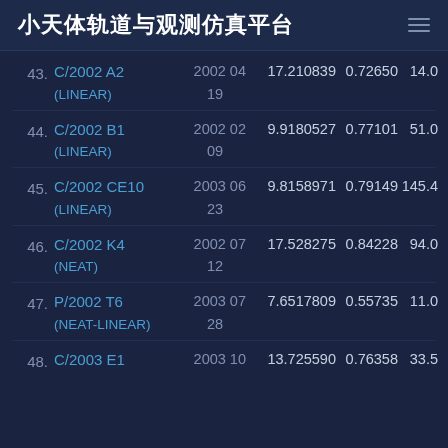小天体轨道与观测仿真平台
43. C/2002 A2 (LINEAR) 2002 04 19 17.210839 0.72650 14.0
44. C/2002 B1 (LINEAR) 2002 02 09 9.9180527 0.77101 51.0
45. C/2002 CE10 (LINEAR) 2003 06 23 9.8158971 0.79149 145.4
46. C/2002 K4 (NEAT) 2002 07 12 17.528275 0.84228 94.0
47. P/2002 T6 (NEAT-LINEAR) 2003 07 28 7.6517809 0.55735 11.0
48. C/2003 E1 2003 10 13.725590 0.76358 33.5